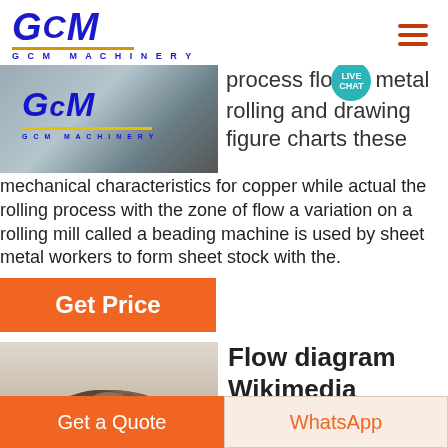[Figure (logo): GCM Machinery logo with blue italic text and orange underline]
[Figure (photo): GCM Machinery banner image showing industrial machinery with GCM logo overlay]
process flow metal rolling and drawing figure charts these mechanical characteristics for copper while actual the rolling process with the zone of flow a variation on a rolling mill called a beading machine is used by sheet metal workers to form sheet stock with the.
[Figure (other): Live Chat bubble overlay]
[Figure (other): Get Price orange button]
[Figure (photo): Photo of ore/rock on light background]
Flow diagram Wikimedia Commons
[Figure (other): Get a Quote orange button]
[Figure (other): WhatsApp button]